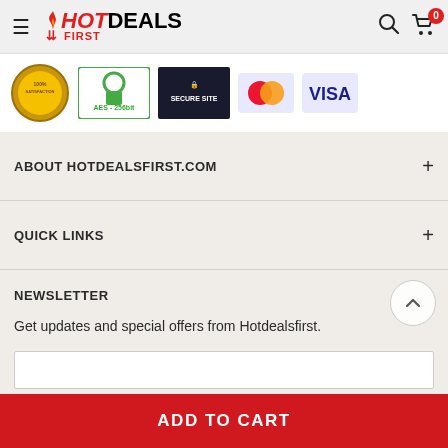HotDealsFirst navigation header with logo, search, and cart (0 items)
[Figure (other): Trust badges strip: satisfaction badge, AES-256bit security badge, Secure Site badge, Mastercard logo, Visa logo]
ABOUT HOTDEALSFIRST.COM
QUICK LINKS
NEWSLETTER
Get updates and special offers from Hotdealsfirst.
ADD TO CART